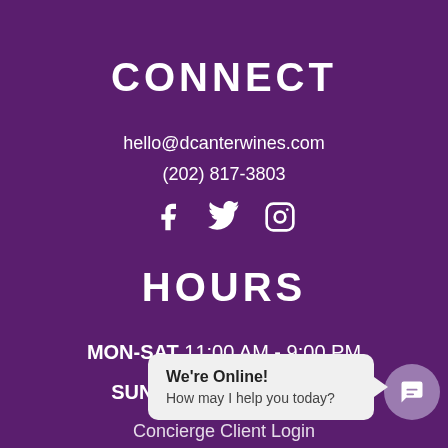CONNECT
hello@dcanterwines.com
(202) 817-3803
[Figure (illustration): Social media icons: Facebook, Twitter, Instagram in white]
HOURS
MON-SAT 11:00 AM - 9:00 PM
SUN 12:00 PM - 6:00 PM
LINKS
We're Online! How may I help you today?
Concierge Client Login